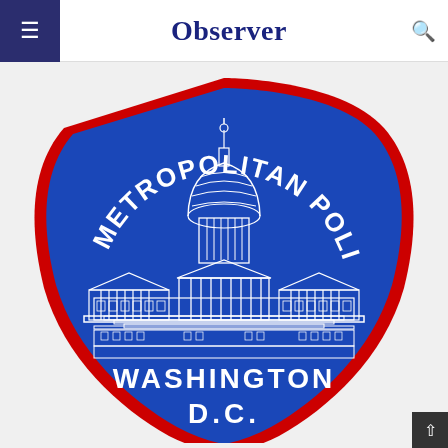Observer
[Figure (logo): Metropolitan Police Washington D.C. badge logo — blue shield shape with red border, featuring the US Capitol building illustration in white, arched text 'METROPOLITAN POLICE' at top and 'WASHINGTON D.C.' at bottom, all in white on blue background.]